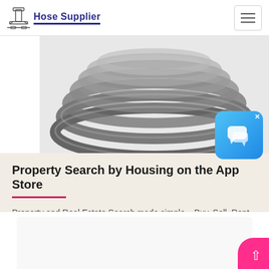Hose Supplier
[Figure (photo): Coiled metal/rubber hose product shown from above, partially cropped at top]
[Figure (illustration): Blue chat/messaging app icon with speech bubble, overlay widget with X close button]
Property Search by Housing on the App Store
Property and Real Estate Search made simple – Buy, Sell, Rent & Co-living Find your perfect home on Housing - the only property app you need for all your home purchase or...
[Figure (photo): Partial view of another content card at the bottom of the page, partially cropped]